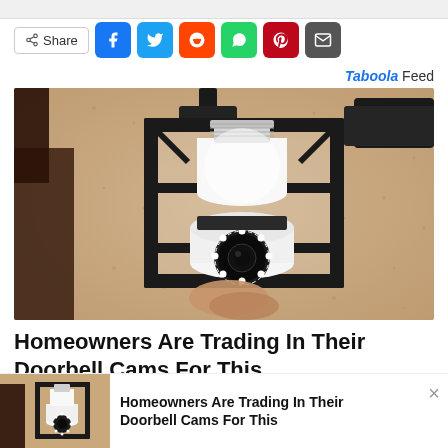[Figure (screenshot): Share bar with social media icons: Share button, Facebook (blue), Twitter (blue), Reddit (orange), WhatsApp (green), Pinterest (dark red), Email (gray)]
Taboola Feed
[Figure (photo): A security camera shaped like a light bulb mounted inside a black lantern-style outdoor wall light fixture against a textured beige/tan stucco wall. The camera has a round lens with LED ring at the bottom of the white bulb form factor.]
Homeowners Are Trading In Their Doorbell Cams For This
[Figure (photo): Smaller thumbnail of same security camera light bulb in outdoor lantern fixture]
Homeowners Are Trading In Their Doorbell Cams For This